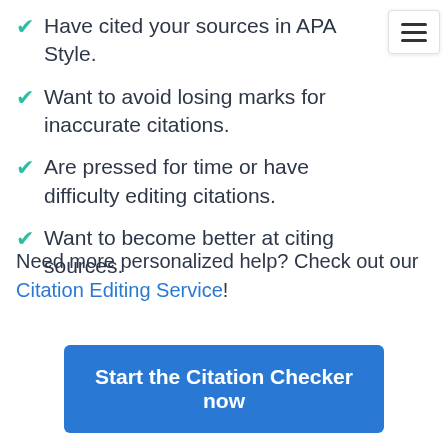Have cited your sources in APA Style.
Want to avoid losing marks for inaccurate citations.
Are pressed for time or have difficulty editing citations.
Want to become better at citing sources.
Need more personalized help? Check out our Citation Editing Service!
Start the Citation Checker now